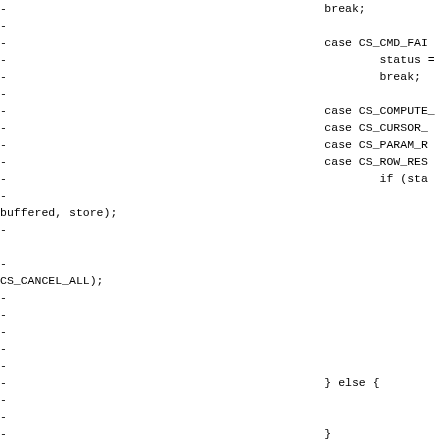Code fragment showing switch-case statements with CS_CMD_FAIL, CS_COMPUTE_, CS_CURSOR_, CS_PARAM_R, CS_ROW_RES cases, including break, status assignment, if (sta..., buffered store, CS_CANCEL_ALL, and else/closing brace lines. Left column shows diff markers (-).